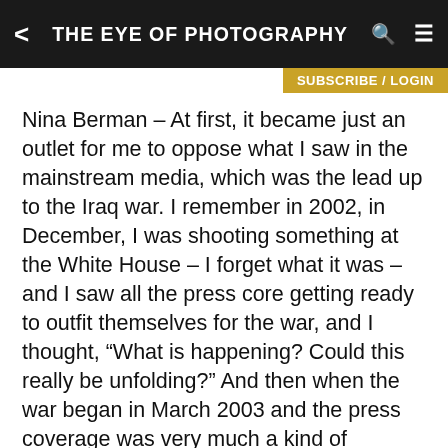THE EYE OF PHOTOGRAPHY
SUBSCRIBE / LOGIN
Nina Berman – At first, it became just an outlet for me to oppose what I saw in the mainstream media, which was the lead up to the Iraq war. I remember in 2002, in December, I was shooting something at the White House – I forget what it was – and I saw all the press core getting ready to outfit themselves for the war, and I thought, “What is happening? Could this really be unfolding?” And then when the war began in March 2003 and the press coverage was very much a kind of Hollywood extravaganza — or so it appeared on television — I felt lied to and I felt like I needed to find some way to personally counter this and to engage in this war beyond just watching it on television. You could see pretty early on that there wasn’t going to be any visual recording of wounded or killed, either Iraqi or American, and yet you would read